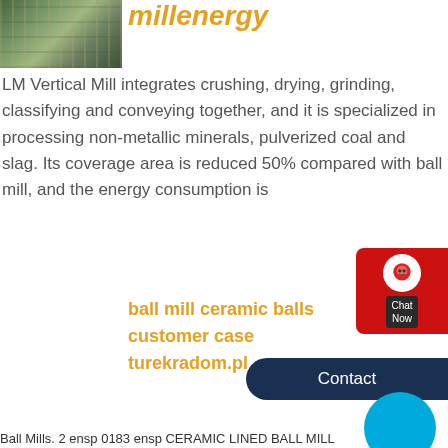[Figure (photo): Construction site with industrial machinery and scaffolding, green-toned]
millenergy
LM Vertical Mill integrates crushing, drying, grinding, classifying and conveying together, and it is specialized in processing non-metallic minerals, pulverized coal and slag. Its coverage area is reduced 50% compared with ball mill, and the energy consumption is
[Figure (photo): Industrial ball mill or crushing machinery on grey/snowy background with LTMIL watermark]
ball mill ceramic balls customer case turekradom.pl
Ball Mills. 2 ensp 0183 ensp CERAMIC LINED BALL MILL